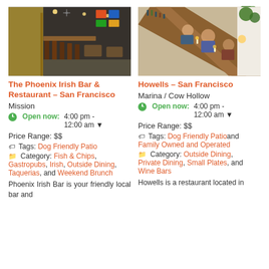[Figure (photo): Interior of The Phoenix Irish Bar & Restaurant showing bar seating, bar counter with bar stools, pendant lights, and colorful decor on walls]
The Phoenix Irish Bar & Restaurant – San Francisco
Mission
Open now: 4:00 pm - 12:00 am
Price Range: $$
Tags: Dog Friendly Patio
Category: Fish & Chips, Gastropubs, Irish, Outside Dining, Taquerias, and Weekend Brunch
Phoenix Irish Bar is your friendly local bar and
[Figure (photo): Overhead interior view of Howells bar in San Francisco showing bar counter with bottles, patrons seated, and hanging plants]
Howells – San Francisco
Marina / Cow Hollow
Open now: 4:00 pm - 12:00 am
Price Range: $$
Tags: Dog Friendly Patio and Family Owned and Operated
Category: Outside Dining, Private Dining, Small Plates, and Wine Bars
Howells is a restaurant located in